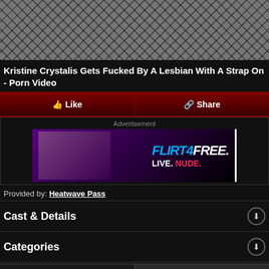[Figure (photo): Partial view of a person wearing fishnet stockings, cropped screenshot from a video]
Kristine Crystalis Gets Fucked By A Lesbian With A Strap On - Porn Video
Like | Share
[Figure (photo): Advertisement banner for Flirt4Free showing a woman with text LIVE. NUDE.]
Provided by: Heatwave Pass
Cast & Details
Categories
Related Videos
User Comments (0)
[Figure (photo): Three small video thumbnail images at the bottom of the page]